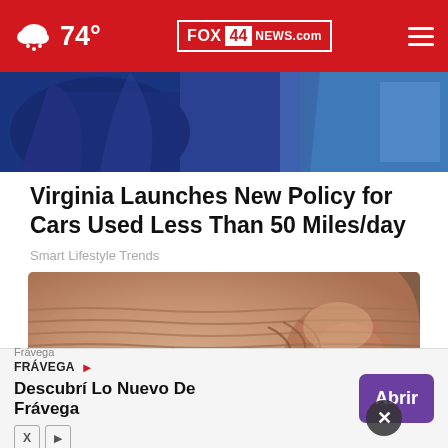74° FOX 44 NEWS.com
[Figure (photo): Partial view of people, blue clothing visible, cropped top image strip]
Virginia Launches New Policy for Cars Used Less Than 50 Miles/day
Smart Lifestyle Trends
[Figure (photo): Close-up of elderly wrinkled skin near nose area, pinkish-beige tones with pronounced wrinkle lines]
[Figure (infographic): Advertisement banner: Frávega — Descubrí Lo Nuevo De Frávega — Abrir button]